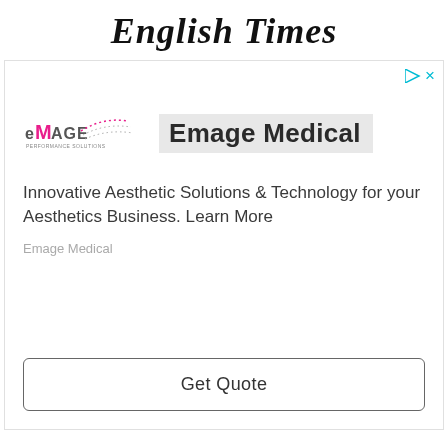English Times
[Figure (logo): Emage Medical advertisement with logo, brand name, description text, and Get Quote call-to-action button]
Innovative Aesthetic Solutions & Technology for your Aesthetics Business. Learn More
Emage Medical
Get Quote